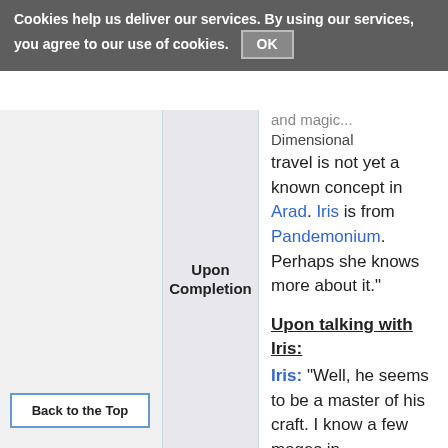Cookies help us deliver our services. By using our services, you agree to our use of cookies. OK
and magic... Dimensional travel is not yet a known concept in Arad. Iris is from Pandemonium. Perhaps she knows more about it."
Upon talking with Iris:
Iris: "Well, he seems to be a master of his craft. I know a few mages in Pandemonium have that kind of power. Of course, none of
Upon Completion